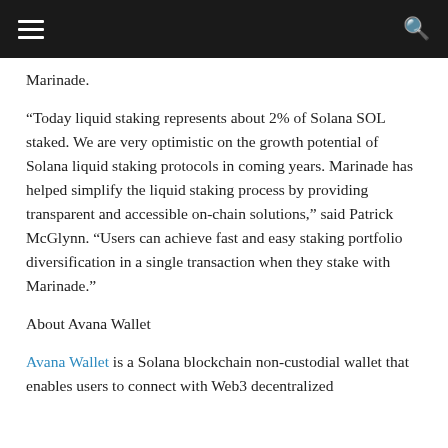Marinade.
“Today liquid staking represents about 2% of Solana SOL staked. We are very optimistic on the growth potential of Solana liquid staking protocols in coming years. Marinade has helped simplify the liquid staking process by providing transparent and accessible on-chain solutions,” said Patrick McGlynn. “Users can achieve fast and easy staking portfolio diversification in a single transaction when they stake with Marinade.”
About Avana Wallet
Avana Wallet is a Solana blockchain non-custodial wallet that enables users to connect with Web3 decentralized